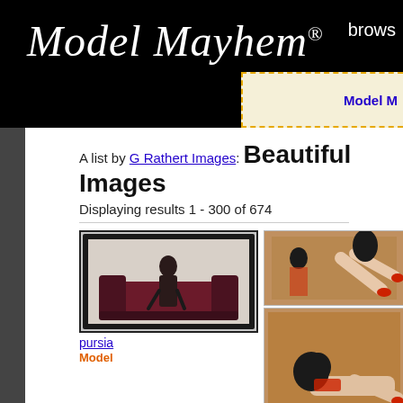Model Mayhem® brows...
A list by G Rathert Images: Beautiful Images
Displaying results 1 - 300 of 674
[Figure (photo): Model photo: woman seated on red velvet couch in dark setting]
pursia
Model
[Figure (photo): Two photos of a dark-haired woman in red outfit posed in a wooden box/shelf structure]